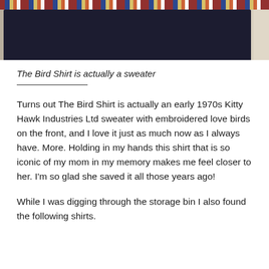[Figure (photo): Partial view of a dark navy sweater laid on a wooden surface, with a patterned fabric visible at the top edge (colorful embroidered or woven design in red, blue, and yellow). A light-colored object is partially visible at the right edge.]
The Bird Shirt is actually a sweater
Turns out The Bird Shirt is actually an early 1970s Kitty Hawk Industries Ltd sweater with embroidered love birds on the front, and I love it just as much now as I always have. More. Holding in my hands this shirt that is so iconic of my mom in my memory makes me feel closer to her. I'm so glad she saved it all those years ago!
While I was digging through the storage bin I also found the following shirts.